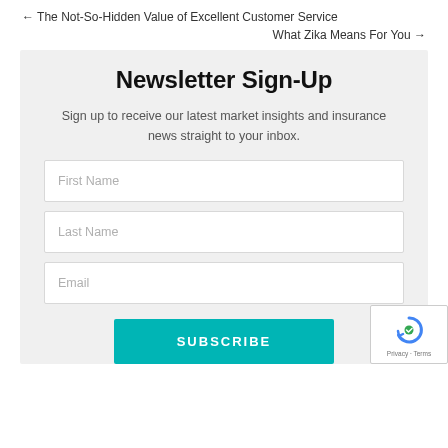← The Not-So-Hidden Value of Excellent Customer Service
What Zika Means For You →
Newsletter Sign-Up
Sign up to receive our latest market insights and insurance news straight to your inbox.
First Name
Last Name
Email
SUBSCRIBE